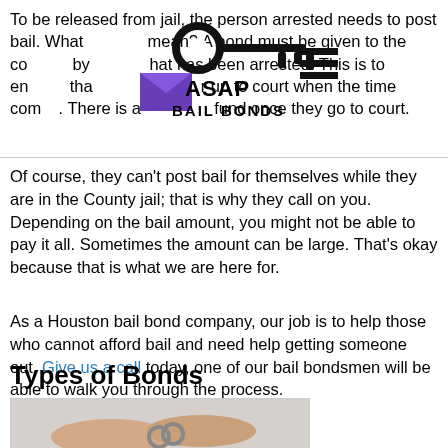To be released from jail, the person arrested needs to post bail. What does that mean? A bond must be given to the county by the person that has been arrested. This is to ensure that they show up to court when the time comes. There is a refund once they go to court.
[Figure (logo): ASAP Bail Bonds logo with key, envelope, and hamburger menu lines]
Of course, they can't post bail for themselves while they are in the County jail; that is why they call on you. Depending on the bail amount, you might not be able to pay it all. Sometimes the amount can be large. That's okay because that is what we are here for.
As a Houston bail bond company, our job is to help those who cannot afford bail and need help getting someone out. Give us a call today, one of our bail bondsmen will be able to walk you through the process.
Types of Bonds
[Figure (photo): Hands in handcuffs, wrists bound together with metal handcuffs, seen from above on a light background]